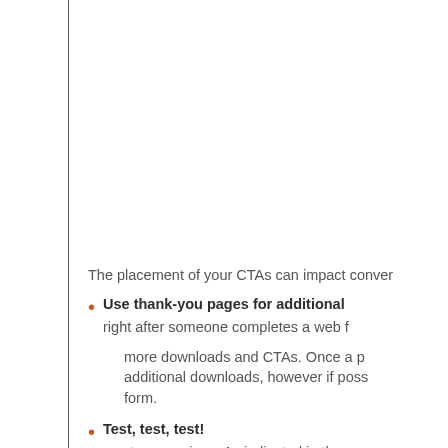The placement of your CTAs can impact conver
Use thank-you pages for additional right after someone completes a web f
more downloads and CTAs. Once a p additional downloads, however if poss form.
Test, test, test! most conversions. As indicated in the ex Test different place